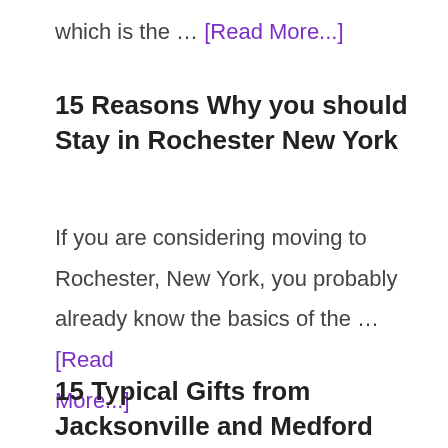which is the … [Read More...]
15 Reasons Why you should Stay in Rochester New York
If you are considering moving to Rochester, New York, you probably already know the basics of the … [Read More...]
15 Typical Gifts from Jacksonville and Medford Oregon